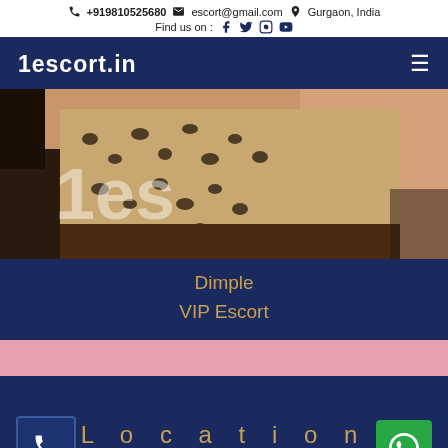+919810525680  escort@gmail.com  Gurgaon, India  Find us on : f  (twitter) (instagram) (youtube)
1escort.in
[Figure (photo): Photo of a person in a leopard print outfit, partially cropped, with a watermark '1es' overlay]
Dimple
VIP Escort
L o c a t i o n